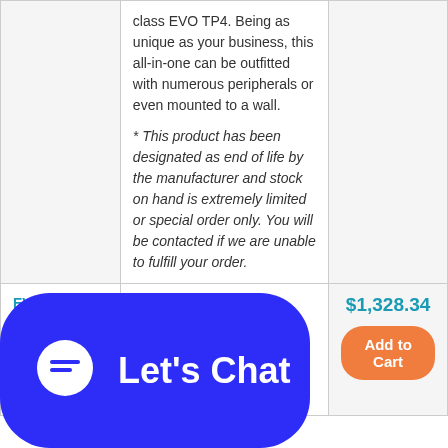| SKU | Description | Price |
| --- | --- | --- |
|  | class EVO TP4. Being as unique as your business, this all-in-one can be outfitted with numerous peripherals or even mounted to a wall.
* This product has been designated as end of life by the manufacturer and stock on hand is extremely limited or special order only. You will be contacted if we are unable to fulfill your order. |  |
| EVO-TP4D-H4VN | EVO TP4 POS Terminal (Intel Pentium 3.2GHz dual core, 4GB DDR3, 120GB SSD, No O/S)
* This product has been... | $1,328.34 |
[Figure (other): Live chat widget overlay with blue rounded rectangle background, chat bubble icon, and 'Let's Chat' text in white.]